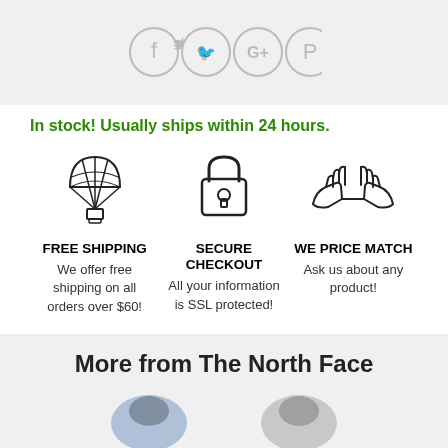[Figure (illustration): Social media icons: Facebook, Twitter, Google+, Pinterest in gray circle buttons on a light gray background]
In stock! Usually ships within 24 hours.
[Figure (illustration): Three trust badge icons with text: FREE SHIPPING (parachute icon), SECURE CHECKOUT (padlock icon), WE PRICE MATCH (handshake icon)]
FREE SHIPPING
We offer free shipping on all orders over $60!
SECURE CHECKOUT
All your information is SSL protected!
WE PRICE MATCH
Ask us about any product!
More from The North Face
[Figure (photo): Two partial product thumbnails visible at bottom of page]